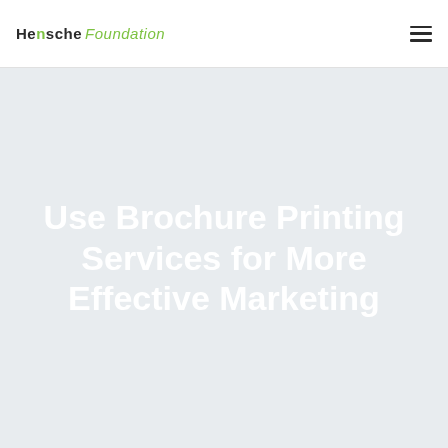Hensche Foundation
Use Brochure Printing Services for More Effective Marketing